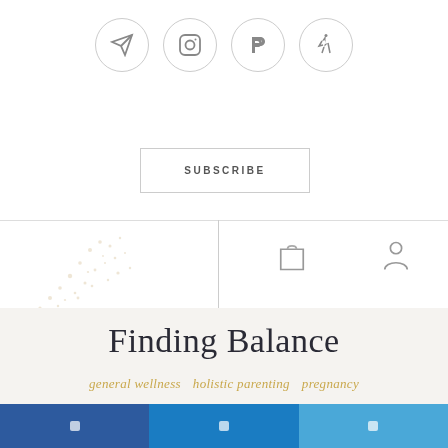[Figure (other): Four social media icon circles: send/telegram, Instagram, Parler, hiking/outdoors icon]
SUBSCRIBE
[Figure (other): Decorative gold/tan spatter/dot pattern on left side]
[Figure (other): Shopping bag icon and user/person icon]
Finding Balance
general wellness  holistic parenting  pregnancy
Well Adjusted  March 20, 2008
Social share buttons footer bar (three segments)